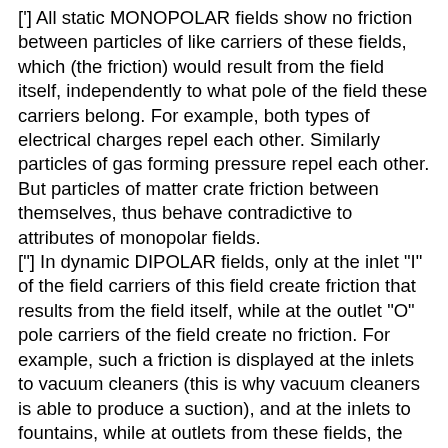[''] All static MONOPOLAR fields show no friction between particles of like carriers of these fields, which (the friction) would result from the field itself, independently to what pole of the field these carriers belong. For example, both types of electrical charges repel each other. Similarly particles of gas forming pressure repel each other. But particles of matter crate friction between themselves, thus behave contradictive to attributes of monopolar fields. ["] In dynamic DIPOLAR fields, only at the inlet "I" of the field carriers of this field create friction that results from the field itself, while at the outlet "O" pole carriers of the field create no friction. For example, such a friction is displayed at the inlets to vacuum cleaners (this is why vacuum cleaners is able to produce a suction), and at the inlets to fountains, while at outlets from these fields, the carriers simply disperse without any friction. Thus, out of all possible cases of behaviour of field carriers, matter displays friction, which is a phenomenon that is very unique to inlets in dynamic dipolar fields. This again confirms that gravity has a dipolar character. 1B. Natural phenomena, the course of which coincides with the dipolar gravity, but contradicts the monopolar gravity. There is a lot of these, and the explanations of the most evidential of these are provided in subsection H5.3. In order to list here at least some of such phenomena, they for example include amongst others: